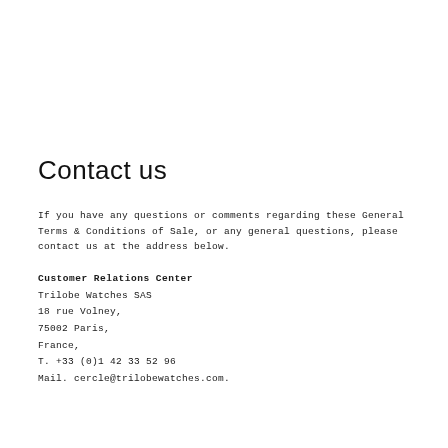Contact us
If you have any questions or comments regarding these General Terms & Conditions of Sale, or any general questions, please contact us at the address below.
Customer Relations Center
Trilobe Watches SAS
18 rue Volney,
75002 Paris,
France,
T. +33 (0)1 42 33 52 96
Mail. cercle@trilobewatches.com.